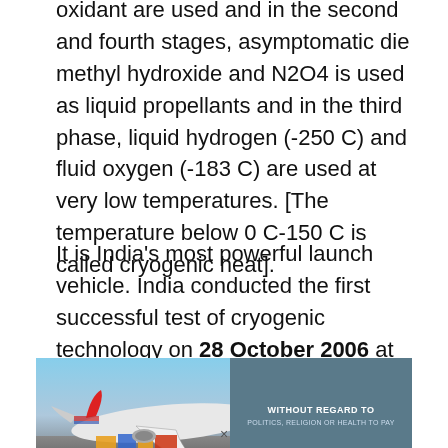oxidant are used and in the second and fourth stages, asymptomatic die methyl hydroxide and N2O4 is used as liquid propellants and in the third phase, liquid hydrogen (-250 C) and fluid oxygen (-183 C) are used at very low temperatures. [The temperature below 0 C-150 C is called cryogenic heat].
It is India's most powerful launch vehicle. India conducted the first successful test of cryogenic technology on 28 October 2006 at Mahendragiri, Tamil Nadu. India is the 6th country to successfully test cryogenic technology. Earlier this capability was only in the
[Figure (photo): Advertisement image showing an airplane being loaded with cargo on a tarmac, with a dark overlay on the right side reading 'WITHOUT REGARD TO POLITICS, RELIGION OR HEALTH TO PAY']